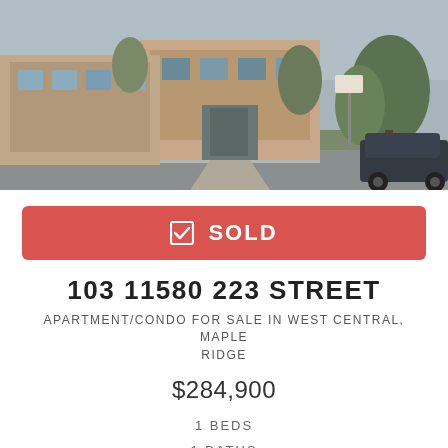[Figure (photo): Exterior photo of a brick apartment/condo building with a paved walkway, trees, parked car on right, overcast sky]
SOLD
103 11580 223 STREET
APARTMENT/CONDO FOR SALE IN WEST CENTRAL, MAPLE RIDGE
$284,900
1 BEDS
1 BATHS
605 SQ. FT.
BUILT 2014